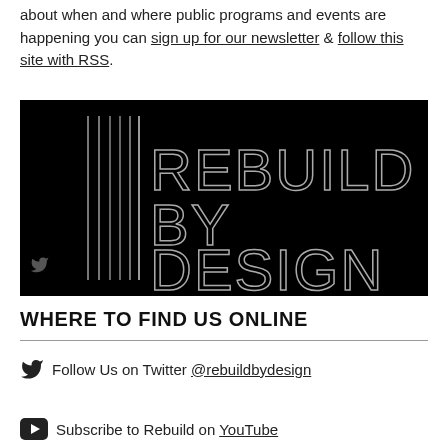about when and where public programs and events are happening you can sign up for our newsletter & follow this site with RSS.
[Figure (logo): Rebuild by Design logo: black background with white outlined text reading REBUILD BY DESIGN and vertical line graphic on the left side with a small Twitter bird icon at the bottom left]
WHERE TO FIND US ONLINE
Follow Us on Twitter @rebuildbydesign
Subscribe to Rebuild on YouTube